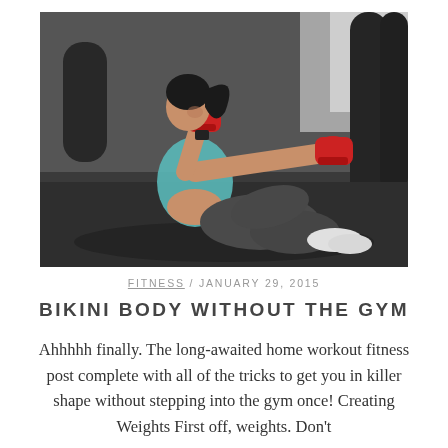[Figure (photo): A woman with dark hair in a ponytail, wearing a teal sports top and dark pants with red boxing hand wraps, performing a boxing crunch exercise on the floor of a gym with punching bags visible in the background.]
FITNESS / JANUARY 29, 2015
BIKINI BODY WITHOUT THE GYM
Ahhhhh finally. The long-awaited home workout fitness post complete with all of the tricks to get you in killer shape without stepping into the gym once! Creating Weights First off, weights. Don't